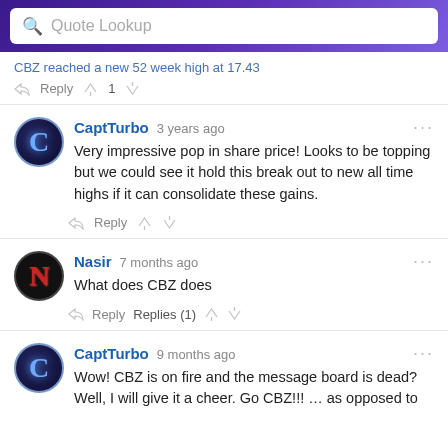Quote Lookup
CBZ reached a new 52 week high at 17.43
Reply  1
CaptTurbo 3 years ago
Very impressive pop in share price! Looks to be topping but we could see it hold this break out to new all time highs if it can consolidate these gains.
Reply
Nasir 7 months ago
What does CBZ does
Reply  Replies (1)
CaptTurbo 9 months ago
Wow! CBZ is on fire and the message board is dead? Well, I will give it a cheer. Go CBZ!!! … as opposed to